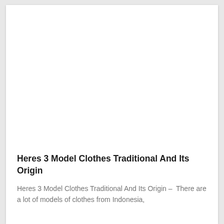[Figure (photo): Large white/blank image area at the top of the card]
Heres 3 Model Clothes Traditional And Its Origin
Heres 3 Model Clothes Traditional And Its Origin – There are a lot of models of clothes from Indonesia,